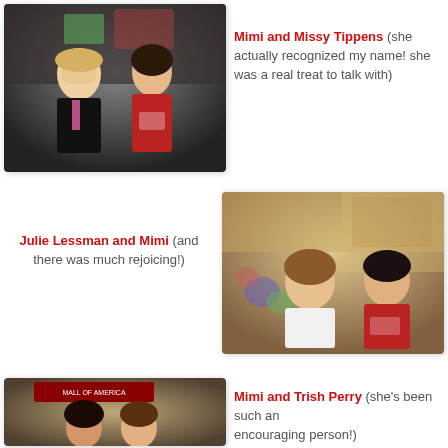[Figure (photo): Two women smiling in a retail store, one in pink and black, one in red t-shirt with name badge]
Mimi and Missy Tippens (she actually recognized my name! she was a real treat to talk with)
Julie Lessman and Mimi (and there was much rejoicing!)
[Figure (photo): Two women smiling at a signing table in a mall, one in white blouse with brown hair, one in red t-shirt]
[Figure (photo): Two women smiling in front of Mall of America sign, one dark-haired one in the middle]
Mimi and Trish Perry (she's been such an encouraging person!)